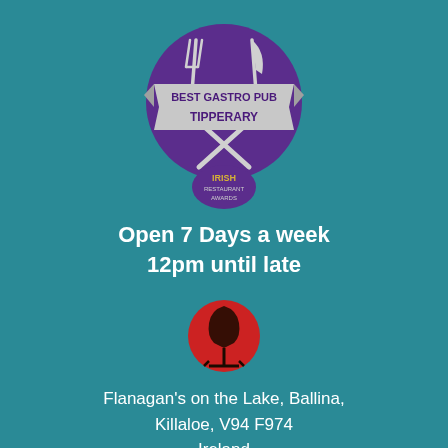[Figure (logo): Best Gastro Pub Tipperary - Irish Restaurant Awards badge with crossed fork and knife on purple circle with silver ribbon banner]
Open 7 Days a week
12pm until late
[Figure (logo): Flanagan's on the Lake red circular logo with stylized figure]
Flanagan's on the Lake, Ballina, Killaloe, V94 F974 Ireland
Tel: (061) 622 790